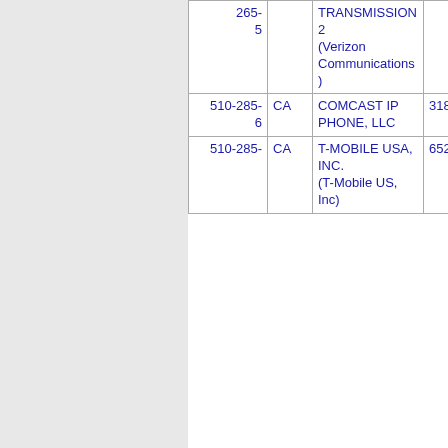| Phone | State | Carrier | Code |
| --- | --- | --- | --- |
| 265-
5 |  | TRANSMISSION 2
(Verizon Communications) |  |
| 510-285-
6 | CA | COMCAST IP PHONE, LLC | 318J |
| 510-285- | CA | T-MOBILE USA, INC.
(T-Mobile US, Inc) | 6529 |